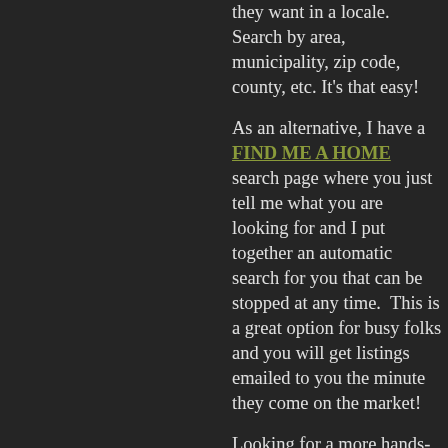they want in a locale. Search by area, municipality, zip code, county, etc. It's that easy!
As an alternative, I have a FIND ME A HOME search page where you just tell me what you are looking for and I put together an automatic search for you that can be stopped at any time.  This is a great option for busy folks and you will get listings emailed to you the minute they come on the market!
Looking for a more hands-on option? I have a couple of different home search tools on my website you can use to search listing on your own.  If you set up an account with your search parameters on one of these